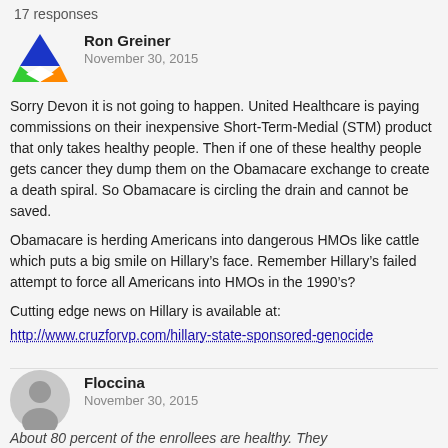17 responses
Ron Greiner
November 30, 2015
Sorry Devon it is not going to happen. United Healthcare is paying commissions on their inexpensive Short-Term-Medial (STM) product that only takes healthy people. Then if one of these healthy people gets cancer they dump them on the Obamacare exchange to create a death spiral. So Obamacare is circling the drain and cannot be saved.
Obamacare is herding Americans into dangerous HMOs like cattle which puts a big smile on Hillary’s face. Remember Hillary’s failed attempt to force all Americans into HMOs in the 1990’s?
Cutting edge news on Hillary is available at:
http://www.cruzforvp.com/hillary-state-sponsored-genocide
Floccina
November 30, 2015
About 80 percent of the enrollees are healthy. They